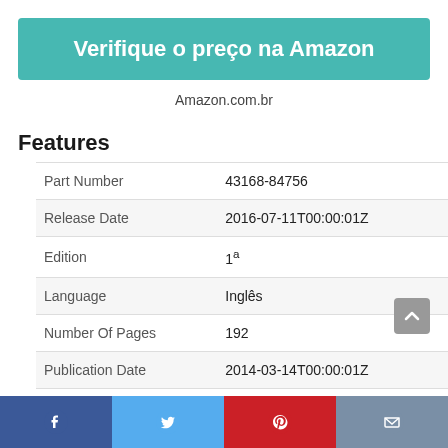[Figure (other): Teal button with white bold text 'Verifique o preço na Amazon']
Amazon.com.br
Features
| Part Number | 43168-84756 |
| Release Date | 2016-07-11T00:00:01Z |
| Edition | 1ª |
| Language | Inglês |
| Number Of Pages | 192 |
| Publication Date | 2014-03-14T00:00:01Z |
[Figure (other): Social share bar with Facebook, Twitter, Pinterest, and email icons]